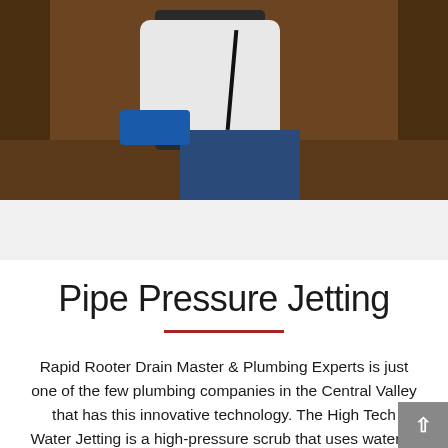[Figure (photo): A plumber or technician kneeling on a hardwood floor between dark wooden cabinets, working with a blue device/equipment box, with a black cord/cable visible.]
Pipe Pressure Jetting
Rapid Rooter Drain Master & Plumbing Experts is just one of the few plumbing companies in the Central Valley that has this innovative technology. The High Tech Water Jetting is a high-pressure scrub that uses water to clear blockages. Your